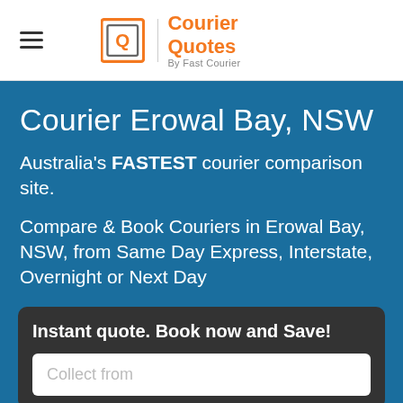Courier Quotes By Fast Courier
Courier Erowal Bay, NSW
Australia's FASTEST courier comparison site.
Compare & Book Couriers in Erowal Bay, NSW, from Same Day Express, Interstate, Overnight or Next Day
Instant quote. Book now and Save!
Collect from